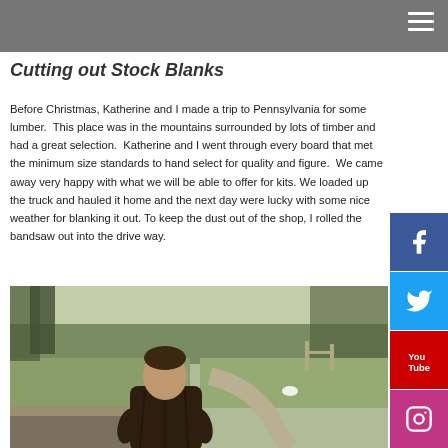Cutting out Stock Blanks
Before Christmas, Katherine and I made a trip to Pennsylvania for some lumber.  This place was in the mountains surrounded by lots of timber and had a great selection.  Katherine and I went through every board that met the minimum size standards to hand select for quality and figure.  We came away very happy with what we will be able to offer for kits. We loaded up the truck and hauled it home and the next day were lucky with some nice weather for blanking it out. To keep the dust out of the shop, I rolled the bandsaw out into the drive way.
[Figure (photo): A man in a dark plaid jacket leaning forward outdoors, on a gravel/grass area with trees and a winding road in the background. Natural daylight scene.]